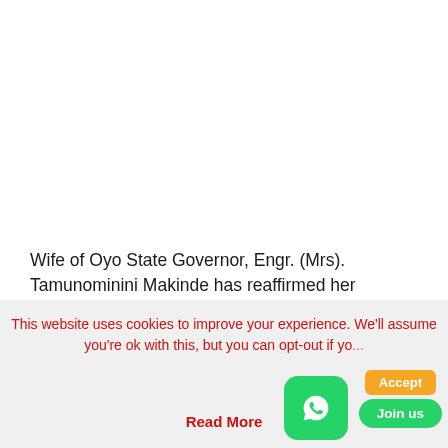Wife of Oyo State Governor, Engr. (Mrs). Tamunominini Makinde has reaffirmed her commitment to the well-being of people living with HIV/AIDS, calling on World leaders to join hands with the State Government to promote policies geared towards the victims' total healthiness.
This website uses cookies to improve your experience. We'll assume you're ok with this, but you can opt-out if yo... Read More